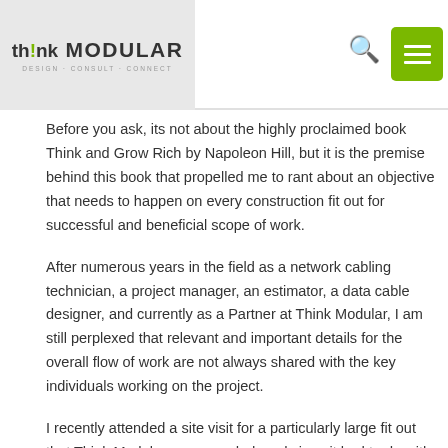think MODULAR DESIGN · CONSULT · CONNECT
Before you ask, its not about the highly proclaimed book Think and Grow Rich by Napoleon Hill, but it is the premise behind this book that propelled me to rant about an objective that needs to happen on every construction fit out for successful and beneficial scope of work.
After numerous years in the field as a network cabling technician, a project manager, an estimator, a data cable designer, and currently as a Partner at Think Modular, I am still perplexed that relevant and important details for the overall flow of work are not always shared with the key individuals working on the project.
I recently attended a site visit for a particularly large fit out that Think Modular was awarded, and since it had to do with, you guessed it, the network cabling infrastructure, we met with the General Contractor and the IT company to discuss the LAN room layout. At least that's what I thought. With my Google Pixel and Pen in hand to take fit out notes, I